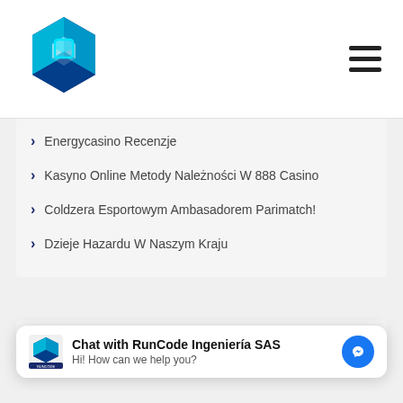[Figure (logo): Blue 3D cube logo with cyan highlights for RunCode Ingeniería SAS]
[Figure (other): Hamburger menu icon (three horizontal lines)]
Energycasino Recenzje
Kasyno Online Metody Należności W 888 Casino
Coldzera Esportowym Ambasadorem Parimatch!
Dzieje Hazardu W Naszym Kraju
Comentarios recientes
[Figure (logo): RunCode Ingeniería SAS small logo in chat widget]
Chat with RunCode Ingeniería SAS
Hi! How can we help you?